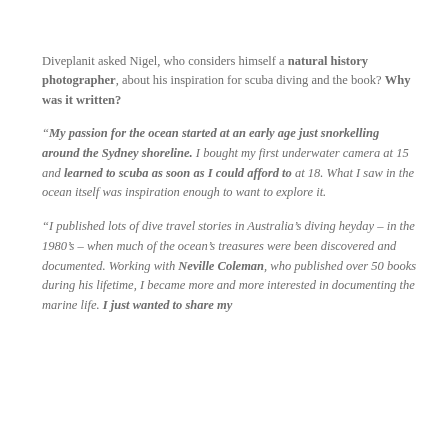Diveplanit asked Nigel, who considers himself a natural history photographer, about his inspiration for scuba diving and the book? Why was it written?
“My passion for the ocean started at an early age just snorkelling around the Sydney shoreline. I bought my first underwater camera at 15 and learned to scuba as soon as I could afford to at 18. What I saw in the ocean itself was inspiration enough to want to explore it.
“I published lots of dive travel stories in Australia’s diving heyday – in the 1980’s – when much of the ocean’s treasures were been discovered and documented. Working with Neville Coleman, who published over 50 books during his lifetime, I became more and more interested in documenting the marine life. I just wanted to share my